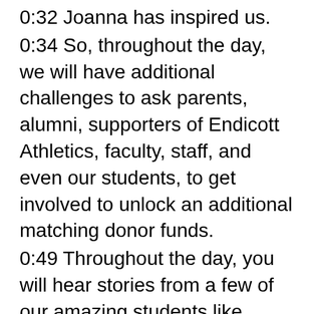0:32 Joanna has inspired us.
0:34 So, throughout the day, we will have additional challenges to ask parents, alumni, supporters of Endicott Athletics, faculty, staff, and even our students, to get involved to unlock an additional matching donor funds.
0:49 Throughout the day, you will hear stories from a few of our amazing students like Rachid, an international studies major, Rob, an elementary education major, and Mackenzie, an athletic training major and women's volleyball student.
1:06 Your gift helps students succeed.
1:09 Your gift makes Endicott stronger.
1:13 Your gift can be allocated to a specific cause near and dear to your heart, or directly placed into the Endicott Fund to be used where it is needed